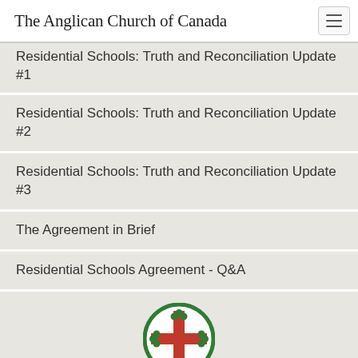The Anglican Church of Canada
Residential Schools: Truth and Reconciliation Update #1
Residential Schools: Truth and Reconciliation Update #2
Residential Schools: Truth and Reconciliation Update #3
The Agreement in Brief
Residential Schools Agreement - Q&A
[Figure (logo): Anglican Church of Canada cross logo: a red cross with green shamrock decorations at each arm tip, enclosed in a green circle with red border]
© 2022 The General Synod of the Anglican Church of Canada